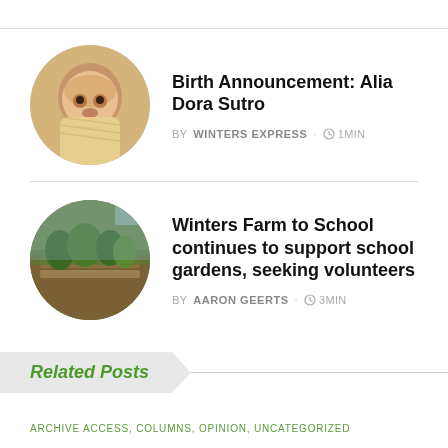[Figure (photo): Circular thumbnail of a newborn baby wrapped in yellow checkered blanket]
Birth Announcement: Alia Dora Sutro
BY WINTERS EXPRESS · 1MIN
[Figure (photo): Circular thumbnail of a garden with raised beds and plants]
Winters Farm to School continues to support school gardens, seeking volunteers
BY AARON GEERTS · 3MIN
Related Posts
ARCHIVE ACCESS, COLUMNS, OPINION, UNCATEGORIZED